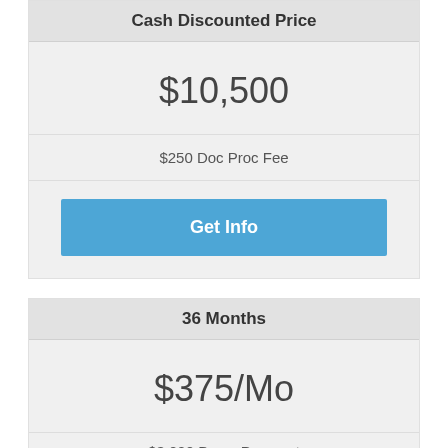Cash Discounted Price
$10,500
$250 Doc Proc Fee
Get Info
36 Months
$375/Mo
$3,000 Down Payment